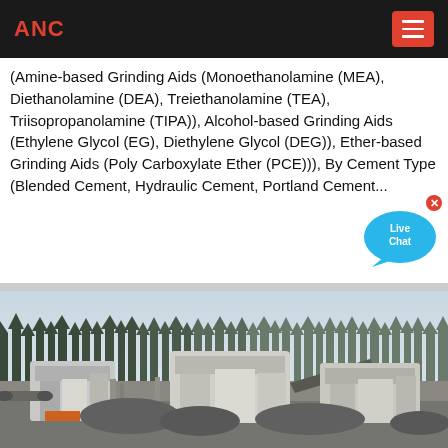ANC
(Amine-based Grinding Aids (Monoethanolamine (MEA), Diethanolamine (DEA), Treiethanolamine (TEA), Triisopropanolamine (TIPA)), Alcohol-based Grinding Aids (Ethylene Glycol (EG), Diethylene Glycol (DEG)), Ether-based Grinding Aids (Poly Carboxylate Ether (PCE))), By Cement Type (Blended Cement, Hydraulic Cement, Portland Cement...
[Figure (photo): Industrial cement grinding machinery and equipment at an outdoor site with trees and misty sky in the background.]